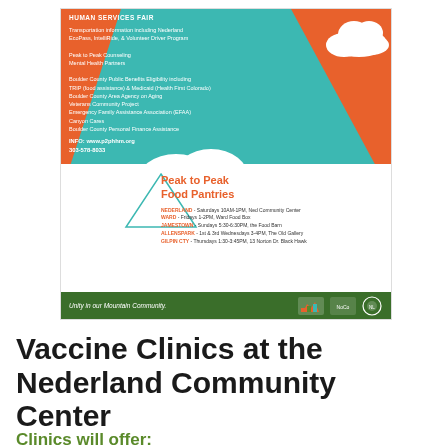[Figure (infographic): Colorful community flyer for Peak to Peak Human Services Fair and Peak to Peak Food Pantries, with teal and orange design, cloud graphics, green footer bar with 'Unity in our Mountain Community.' tagline and logos.]
Vaccine Clinics at the Nederland Community Center
Clinics will offer: